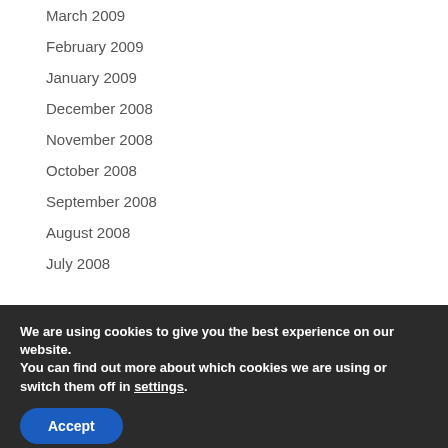March 2009
February 2009
January 2009
December 2008
November 2008
October 2008
September 2008
August 2008
July 2008
We are using cookies to give you the best experience on our website.
You can find out more about which cookies we are using or switch them off in settings.
Accept